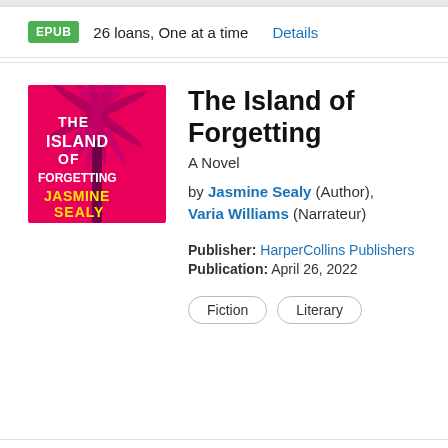EPUB  26 loans, One at a time  Details
[Figure (illustration): Book cover for 'The Island of Forgetting' by Jasmine Sealy. Hot pink background with palm tree silhouettes. White and yellow text.]
The Island of Forgetting
A Novel
by Jasmine Sealy (Author), Varia Williams (Narrateur)
Publisher: HarperCollins Publishers
Publication: April 26, 2022
Fiction
Literary